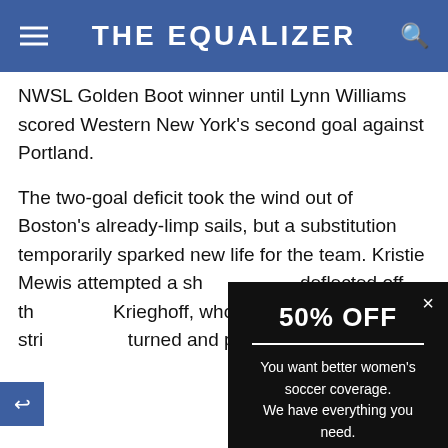THE EQUALIZER
NWSL Golden Boot winner until Lynn Williams scored Western New York's second goal against Portland.
The two-goal deficit took the wind out of Boston's already-limp sails, but a substitution temporarily sparked new life for the team. Kristie Mewis attempted a sh[ot that] deflected off th[e keeper] Krieghoff, who [went to] Schillgard, stri[pped and] turned and put [it past] Boston.
[Figure (screenshot): Popup advertisement with black background showing '50% OFF' promotion for The Equalizer women's soccer coverage with a 'GET HALF OFF' button]
surprising to [see] yd scored multiple goals for the night, a Bree